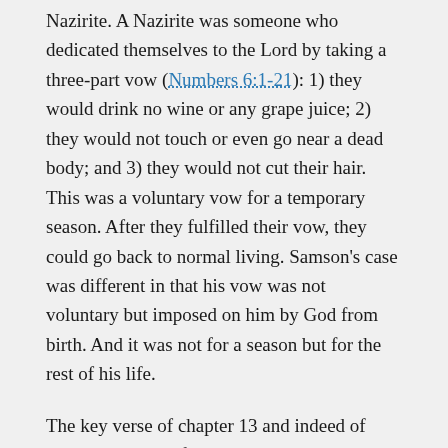Nazirite. A Nazirite was someone who dedicated themselves to the Lord by taking a three-part vow (Numbers 6:1-21): 1) they would drink no wine or any grape juice; 2) they would not touch or even go near a dead body; and 3) they would not cut their hair. This was a voluntary vow for a temporary season. After they fulfilled their vow, they could go back to normal living. Samson's case was different in that his vow was not voluntary but imposed on him by God from birth. And it was not for a season but for the rest of his life.
The key verse of chapter 13 and indeed of Samson's entire life story is right here in verse 5. Samson would begin to deliver the Israelites from the Philistines. This was God greater purpose in Samson's life. Notice that Samson would only begin the task. The Philistines would not be completely defeated until the